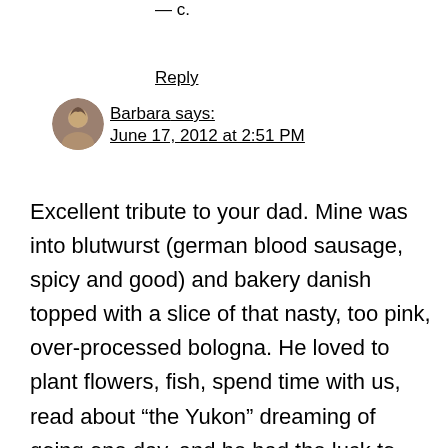— c.
Reply
Barbara says:
June 17, 2012 at 2:51 PM
Excellent tribute to your dad. Mine was into blutwurst (german blood sausage, spicy and good) and bakery danish topped with a slice of that nasty, too pink, over-processed bologna. He loved to plant flowers, fish, spend time with us, read about “the Yukon” dreaming of going one day, and he had the luck to drop dead one